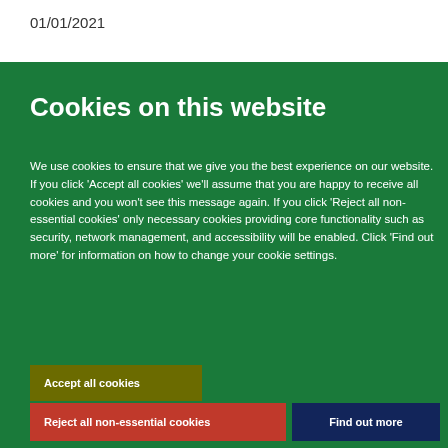01/01/2021
Cookies on this website
We use cookies to ensure that we give you the best experience on our website. If you click 'Accept all cookies' we'll assume that you are happy to receive all cookies and you won't see this message again. If you click 'Reject all non-essential cookies' only necessary cookies providing core functionality such as security, network management, and accessibility will be enabled. Click 'Find out more' for information on how to change your cookie settings.
Accept all cookies
Reject all non-essential cookies
Find out more